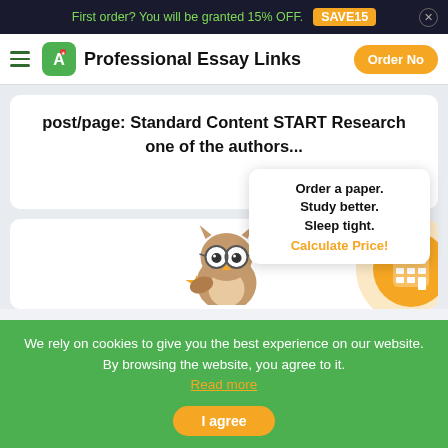First order? You will be granted 15% OFF. SAVE15
Professional Essay Links  Order No
post/page: Standard Content START Research one of the authors...
Order a paper. Study better. Sleep tight. Calculate Price!
[Figure (illustration): Cartoon owl holding a star with glasses, sitting on a branch]
[Figure (illustration): Orange circle with calculator icon inside, on a light orange background circle]
We rely on cookies to give you the best experience on our website. By browsing the website, you agree to it. Read more
I agree